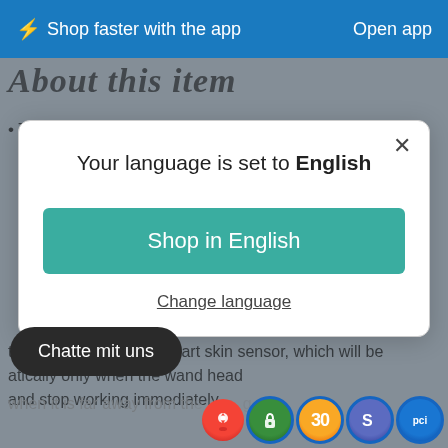⚡ Shop faster with the app    Open app
About this item
The Platinum Gold Red Light Therapy devices has
Your language is set to English
Shop in English
Change language
therapy wand built-in smart skin sensor, which will be atically only when the wand head and stop working immediately
when it is far away from the n p g .